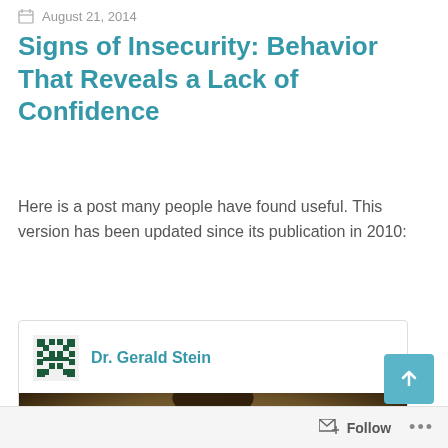August 21, 2014
Signs of Insecurity: Behavior That Reveals a Lack of Confidence
Here is a post many people have found useful. This version has been updated since its publication in 2010:
Dr. Gerald Stein
[Figure (photo): A person with dark hair viewed from behind, arms crossed over chest, painted style photograph on warm brown background]
[Figure (other): Scroll to top button (teal arrow up) and Follow button with icon in bottom bar]